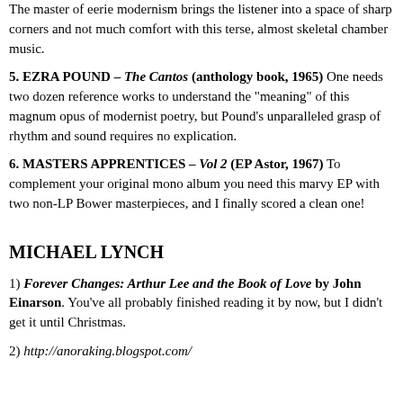The master of eerie modernism brings the listener into a space of sharp corners and not much comfort with this terse, almost skeletal chamber music.
5. EZRA POUND – The Cantos (anthology book, 1965) One needs two dozen reference works to understand the "meaning" of this magnum opus of modernist poetry, but Pound's unparalleled grasp of rhythm and sound requires no explication.
6. MASTERS APPRENTICES – Vol 2 (EP Astor, 1967) To complement your original mono album you need this marvy EP with two non-LP Bower masterpieces, and I finally scored a clean one!
MICHAEL LYNCH
1) Forever Changes: Arthur Lee and the Book of Love by John Einarson. You've all probably finished reading it by now, but I didn't get it until Christmas.
2) http://anoraking.blogspot.com/